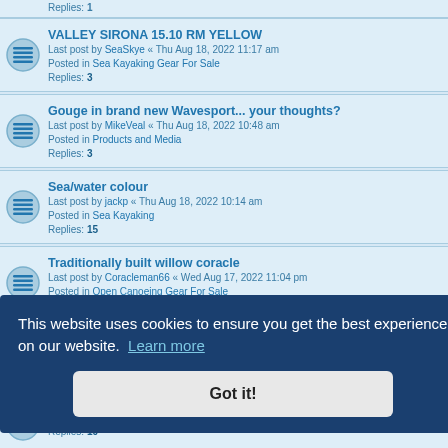Replies: 1 (partial top)
VALLEY SIRONA 15.10 RM YELLOW
Last post by SeaSkye « Thu Aug 18, 2022 11:17 am
Posted in Sea Kayaking Gear For Sale
Replies: 3
Gouge in brand new Wavesport... your thoughts?
Last post by MikeVeal « Thu Aug 18, 2022 10:48 am
Posted in Products and Media
Replies: 3
Sea/water colour
Last post by jackp « Thu Aug 18, 2022 10:14 am
Posted in Sea Kayaking
Replies: 15
Traditionally built willow coracle
Last post by Coracleman66 « Wed Aug 17, 2022 11:04 pm
Posted in Open Canoeing Gear For Sale
Replies: 1
FS Nigel Dennis Explorer HV
Last post by Chris Bolton « Wed Aug 17, 2022 10:11 pm
Posted in Sea Kayaking Gear For Sale
Replies: 1
This website uses cookies to ensure you get the best experience on our website. Learn more
Got it!
...(partial) ...ale
Posted in Sea Kayaking
Replies: 10